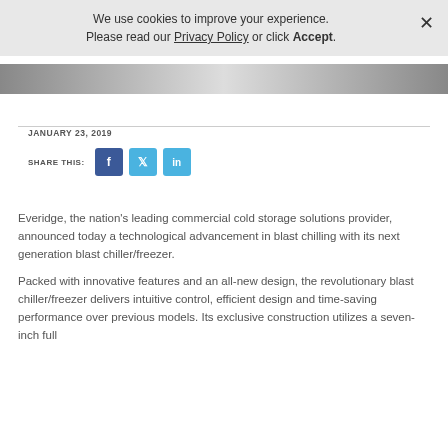We use cookies to improve your experience. Please read our Privacy Policy or click Accept.
[Figure (photo): Grayscale banner image strip at top of page]
JANUARY 23, 2019
[Figure (infographic): Share This: Facebook, Twitter, LinkedIn social share buttons]
Everidge, the nation's leading commercial cold storage solutions provider, announced today a technological advancement in blast chilling with its next generation blast chiller/freezer.
Packed with innovative features and an all-new design, the revolutionary blast chiller/freezer delivers intuitive control, efficient design and time-saving performance over previous models. Its exclusive construction utilizes a seven-inch full